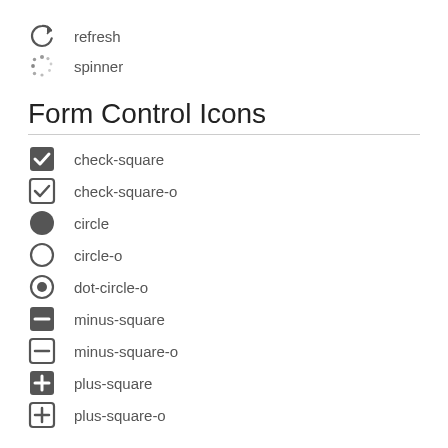refresh
spinner
Form Control Icons
check-square
check-square-o
circle
circle-o
dot-circle-o
minus-square
minus-square-o
plus-square
plus-square-o